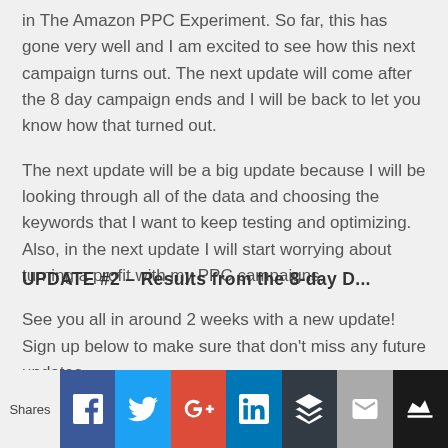in The Amazon PPC Experiment. So far, this has gone very well and I am excited to see how this next campaign turns out. The next update will come after the 8 day campaign ends and I will be back to let you know how that turned out.
The next update will be a big update because I will be looking through all of the data and choosing the keywords that I want to keep testing and optimizing. Also, in the next update I will start worrying about turning a profit with my PPC campaigns.
See you all in around 2 weeks with a new update! Sign up below to make sure that don't miss any future updates.
UPDATE #2 – Results from the 8-day D...